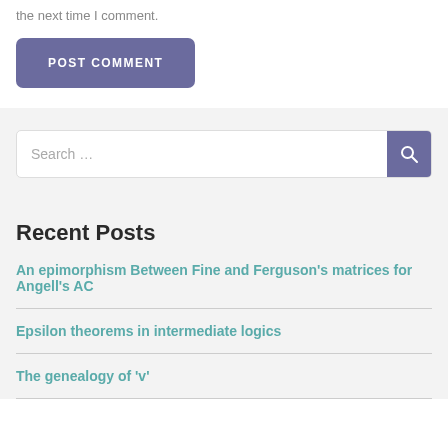the next time I comment.
POST COMMENT
Search …
Recent Posts
An epimorphism Between Fine and Ferguson's matrices for Angell's AC
Epsilon theorems in intermediate logics
The genealogy of 'v'